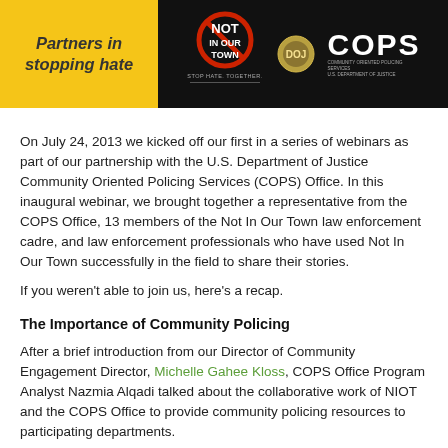[Figure (logo): Header banner with yellow 'Partners in stopping hate' on left, black background with Not In Our Town logo and COPS Office logo on right]
On July 24, 2013 we kicked off our first in a series of webinars as part of our partnership with the U.S. Department of Justice Community Oriented Policing Services (COPS) Office. In this inaugural webinar, we brought together a representative from the COPS Office, 13 members of the Not In Our Town law enforcement cadre, and law enforcement professionals who have used Not In Our Town successfully in the field to share their stories.
If you weren't able to join us, here's a recap.
The Importance of Community Policing
After a brief introduction from our Director of Community Engagement Director, Michelle Gahee Kloss, COPS Office Program Analyst Nazmia Alqadi talked about the collaborative work of NIOT and the COPS Office to provide community policing resources to participating departments.
“Community policing enhances traditional policing by increasing the